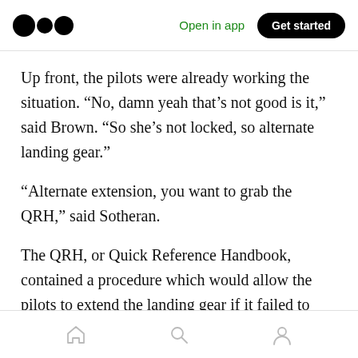Open in app | Get started
Up front, the pilots were already working the situation. “No, damn yeah that’s not good is it,” said Brown. “So she’s not locked, so alternate landing gear.”
“Alternate extension, you want to grab the QRH,” said Sotheran.
The QRH, or Quick Reference Handbook, contained a procedure which would allow the pilots to extend the landing gear if it failed to extend automatically. As Brown pulled it out,
Home | Search | Profile